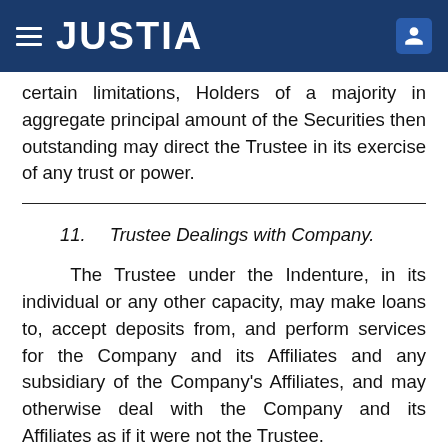JUSTIA
certain limitations, Holders of a majority in aggregate principal amount of the Securities then outstanding may direct the Trustee in its exercise of any trust or power.
11.    Trustee Dealings with Company.
The Trustee under the Indenture, in its individual or any other capacity, may make loans to, accept deposits from, and perform services for the Company and its Affiliates and any subsidiary of the Company's Affiliates, and may otherwise deal with the Company and its Affiliates as if it were not the Trustee.